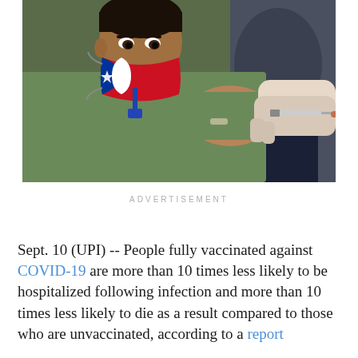[Figure (photo): A man wearing a Texas flag face mask receiving a COVID-19 vaccine injection in his upper arm from a gloved healthcare worker.]
ADVERTISEMENT
Sept. 10 (UPI) -- People fully vaccinated against COVID-19 are more than 10 times less likely to be hospitalized following infection and more than 10 times less likely to die as a result compared to those who are unvaccinated, according to a report